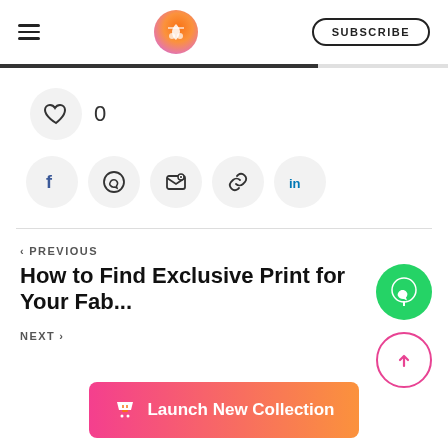SUBSCRIBE
[Figure (logo): Circular gradient logo with scissors/craft icon]
0
[Figure (infographic): Social share icons: Facebook, WhatsApp, Email, Link, LinkedIn]
< PREVIOUS
How to Find Exclusive Print for Your Fab...
NEXT >
[Figure (infographic): WhatsApp floating button (green circle)]
[Figure (infographic): Scroll-to-top button (pink outlined circle with up arrow)]
[Figure (infographic): Launch New Collection button with t-shirt icon]